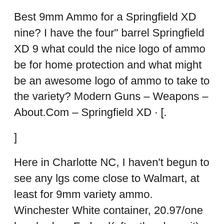Best 9mm Ammo for a Springfield XD nine? I have the four" barrel Springfield XD 9 what could the nice logo of ammo be for home protection and what might be an awesome logo of ammo to take to the variety? Modern Guns – Weapons – About.Com – Springfield XD · [.
]
Here in Charlotte NC, I haven't begun to see any lgs come close to Walmart, at least for 9mm variety ammo. Winchester White container, 20.97/one hundred, or Federal(after they have it) at nine.50/50. And as of late, there appears to be more 9mm than traditional. I have been going to